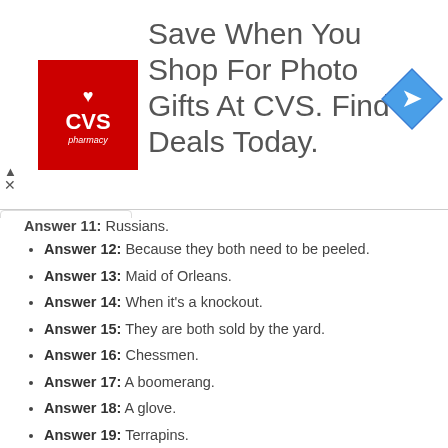[Figure (other): CVS Pharmacy advertisement banner: 'Save When You Shop For Photo Gifts At CVS. Find Deals Today.']
Answer 11: Russians.
Answer 12: Because they both need to be peeled.
Answer 13: Maid of Orleans.
Answer 14: When it's a knockout.
Answer 15: They are both sold by the yard.
Answer 16: Chessmen.
Answer 17: A boomerang.
Answer 18: A glove.
Answer 19: Terrapins.
Answer 20: Because that's where he makes his bread.